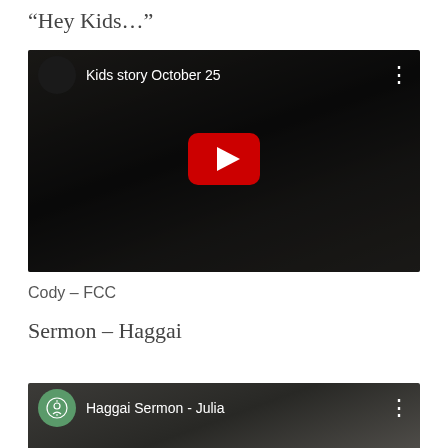“Hey Kids…”
[Figure (screenshot): YouTube video thumbnail for 'Kids story October 25' showing a dark video frame with a person, YouTube play button in center, channel avatar circle top left, three-dot menu top right]
Cody – FCC
Sermon – Haggai
[Figure (screenshot): YouTube video thumbnail for 'Haggai Sermon - Julia' showing a woman and FCC church logo circle top left, three-dot menu top right, partially visible at bottom of page]